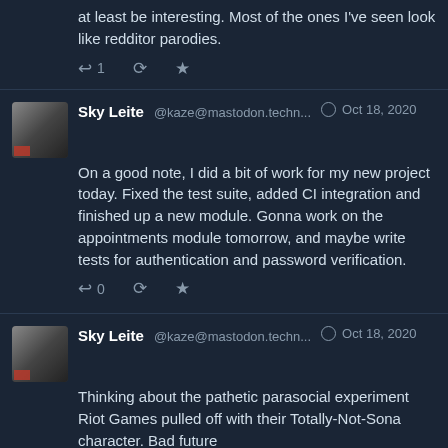at least be interesting. Most of the ones I've seen look like redditor parodies.
↩ 1  🔁  ★
Sky Leite @kaze@mastodon.techn... Oct 18, 2020
On a good note, I did a bit of work for my new project today. Fixed the test suite, added CI integration and finished up a new module. Gonna work on the appointments module tomorrow, and maybe write tests for authentication and password verification.
↩ 0  🔁  ★
Sky Leite @kaze@mastodon.techn... Oct 18, 2020
Thinking about the pathetic parasocial experiment Riot Games pulled off with their Totally-Not-Sona character. Bad future
↩ 0  🔁  ★